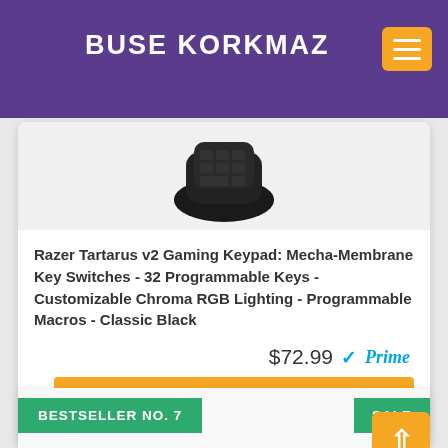BUSE KORKMAZ
[Figure (photo): Razer Tartarus v2 gaming keypad product photo on light background]
Razer Tartarus v2 Gaming Keypad: Mecha-Membrane Key Switches - 32 Programmable Keys - Customizable Chroma RGB Lighting - Programmable Macros - Classic Black
$72.99 Prime
Check Detail on Amazon
BESTSELLER NO. 7
SALE